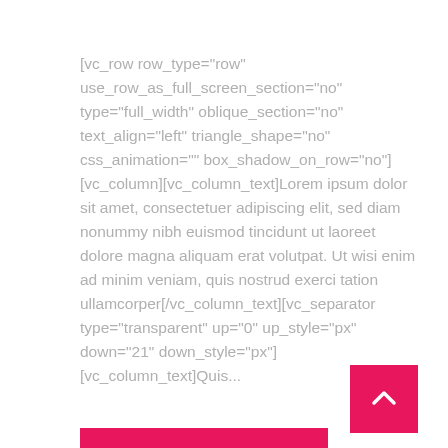[vc_row row_type="row" use_row_as_full_screen_section="no" type="full_width" oblique_section="no" text_align="left" triangle_shape="no" css_animation="" box_shadow_on_row="no"][vc_column][vc_column_text]Lorem ipsum dolor sit amet, consectetuer adipiscing elit, sed diam nonummy nibh euismod tincidunt ut laoreet dolore magna aliquam erat volutpat. Ut wisi enim ad minim veniam, quis nostrud exerci tation ullamcorper[/vc_column_text][vc_separator type="transparent" up="0" up_style="px" down="21" down_style="px"][vc_column_text]Quis...
[Figure (other): Pink/red square button with upward chevron arrow (back-to-top button)]
[Figure (other): Pink/red horizontal bar at the bottom of the page]